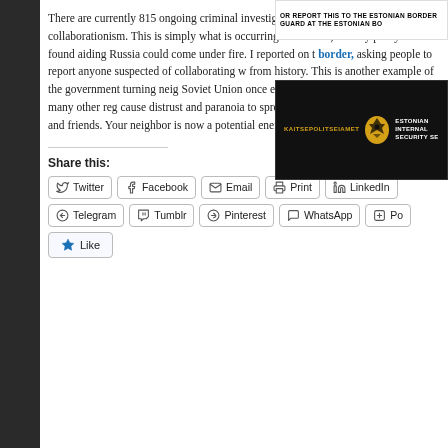[Figure (screenshot): Screenshot of Estonian Internal Security Service banner. Top strip shows text 'OR REPORT THIS TO THE ESTONIAN BORDER GUARD AT THE ESTONIAN BO...' and below a black banner with KAITSEPOLITSEIAMET logo and 'ESTONIAN INTERNAL SECURITY SE...' text]
There are currently 815 ongoing criminal investigations for breaching collaborationism. This is simply what is occurring in Ukraine, but anyone in a proxy war found aiding Russia could come under fire. I reported on the border, asking people to report anyone suspected of collaborating with from history. This is another example of the government turning neig Soviet Union once employed the same tactics, as did many other reg cause distrust and paranoia to spread as the government expects th and friends. Your neighbor is now a potential enemy, and your own a suspicious.
Share this:
Twitter
Facebook
Email
Print
LinkedIn
Telegram
Tumblr
Pinterest
WhatsApp
Po...
Like